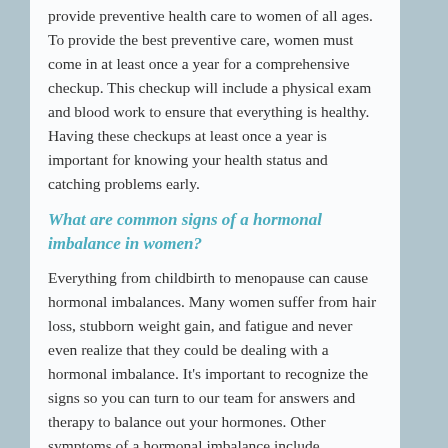provide preventive health care to women of all ages. To provide the best preventive care, women must come in at least once a year for a comprehensive checkup. This checkup will include a physical exam and blood work to ensure that everything is healthy. Having these checkups at least once a year is important for knowing your health status and catching problems early.
What are common signs of a hormonal imbalance in women?
Everything from childbirth to menopause can cause hormonal imbalances. Many women suffer from hair loss, stubborn weight gain, and fatigue and never even realize that they could be dealing with a hormonal imbalance. It’s important to recognize the signs so you can turn to our team for answers and therapy to balance out your hormones. Other symptoms of a hormonal imbalance include,
Hot flashes